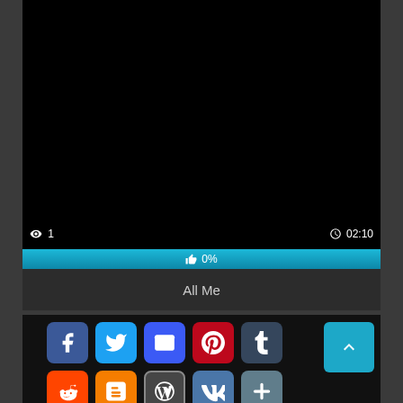[Figure (screenshot): Video player with black screen showing view count 1 and duration 02:10]
👁 1    🕐02:10
👍 0%
All Me
[Figure (screenshot): Social share buttons: Facebook, Twitter, Email, Pinterest, Tumblr, Reddit, Blogger, WordPress, VK, More. Scroll-to-top button in teal.]